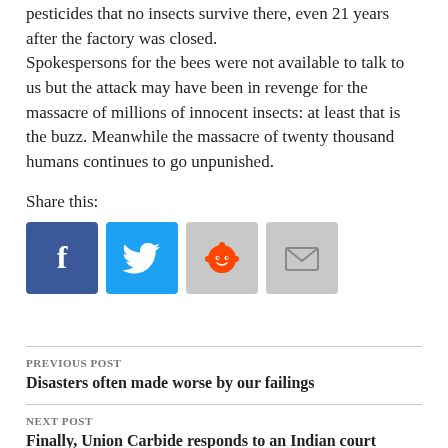pesticides that no insects survive there, even 21 years after the factory was closed.
Spokespersons for the bees were not available to talk to us but the attack may have been in revenge for the massacre of millions of innocent insects: at least that is the buzz. Meanwhile the massacre of twenty thousand humans continues to go unpunished.
Share this:
[Figure (other): Social sharing icons: Facebook (blue), Twitter (light blue), Reddit (gray), Email (gray)]
PREVIOUS POST
Disasters often made worse by our failings
NEXT POST
Finally, Union Carbide responds to an Indian court